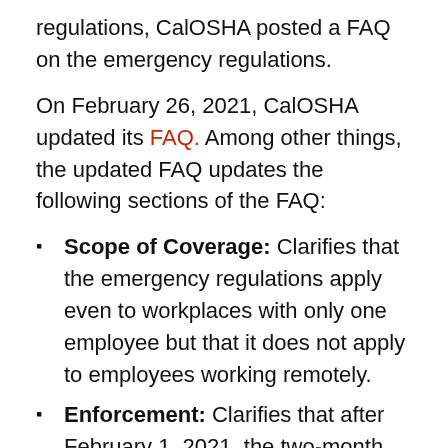regulations, CalOSHA posted a FAQ on the emergency regulations.
On February 26, 2021, CalOSHA updated its FAQ. Among other things, the updated FAQ updates the following sections of the FAQ:
Scope of Coverage: Clarifies that the emergency regulations apply even to workplaces with only one employee but that it does not apply to employees working remotely.
Enforcement: Clarifies that after February 1, 2021, the two-month compliance grace period will end, and that after February 1, 2021, CalOSHA will begin assessing monetary penalties on employers failing to comply with the emergency regulations.
COVID-19 Prevention Program: Clarifies the elements required to be contained in a written